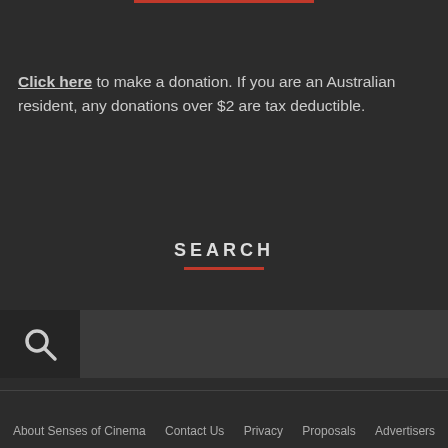Click here to make a donation. If you are an Australian resident, any donations over $2 are tax deductible.
SEARCH
[Figure (other): Search bar with magnifying glass icon on left and input field on right]
About Senses of Cinema   Contact Us   Privacy   Proposals   Advertisers